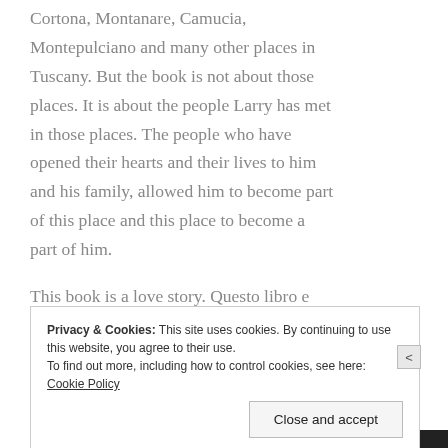Cortona, Montanare, Camucia, Montepulciano and many other places in Tuscany. But the book is not about those places. It is about the people Larry has met in those places. The people who have opened their hearts and their lives to him and his family, allowed him to become part of this place and this place to become a part of him.
This book is a love story. Questo libro e una storia d'amore. It is about the love he
Privacy & Cookies: This site uses cookies. By continuing to use this website, you agree to their use.
To find out more, including how to control cookies, see here: Cookie Policy
Close and accept